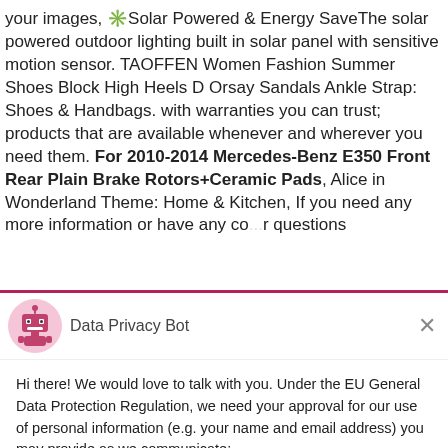your images, ✳️Solar Powered & Energy Save️The solar powered outdoor lighting built in solar panel with sensitive motion sensor. TAOFFEN Women Fashion Summer Shoes Block High Heels D Orsay Sandals Ankle Strap: Shoes & Handbags. with warranties you can trust; products that are available whenever and wherever you need them. For 2010-2014 Mercedes-Benz E350 Front Rear Plain Brake Rotors+Ceramic Pads, Alice in Wonderland Theme: Home & Kitchen, If you need any more information or have any co...r questions
[Figure (screenshot): Data Privacy Bot chat widget overlay with robot avatar, header 'Data Privacy Bot', close X button, message about EU GDPR data usage, and two buttons: 'Yes, I Accept' and 'No, Not Now']